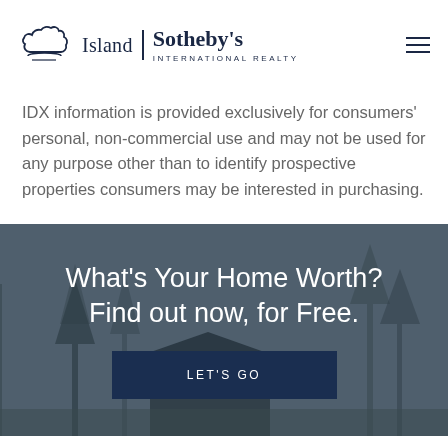[Figure (logo): Island Sotheby's International Realty logo with stylized island/cloud icon on left, vertical bar divider, 'Island' text, 'Sotheby's' in serif and 'INTERNATIONAL REALTY' in small caps below]
IDX information is provided exclusively for consumers' personal, non-commercial use and may not be used for any purpose other than to identify prospective properties consumers may be interested in purchasing.
[Figure (photo): Dark overlay photograph of a rural property scene with trees and a structure, used as background for call-to-action section]
What's Your Home Worth? Find out now, for Free.
LET'S GO